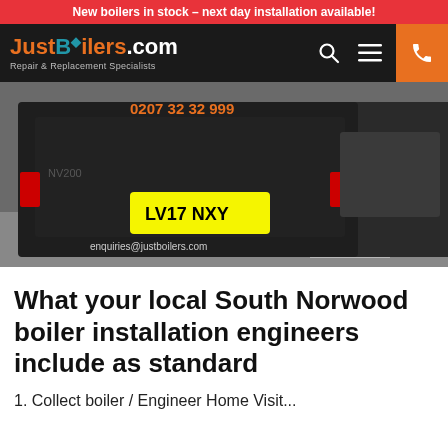New boilers in stock – next day installation available!
[Figure (logo): JustBoilers.com logo with droplet icon and tagline 'Repair & Replacement Specialists' on dark navigation bar]
[Figure (photo): Black Nissan NV200 van with registration LV17 NXY, showing phone number 0207 32 32 999 and email enquiries@justboilers.com on the rear, parked on a street]
What your local South Norwood boiler installation engineers include as standard
1. Collect boiler / Engineer Home Visit...